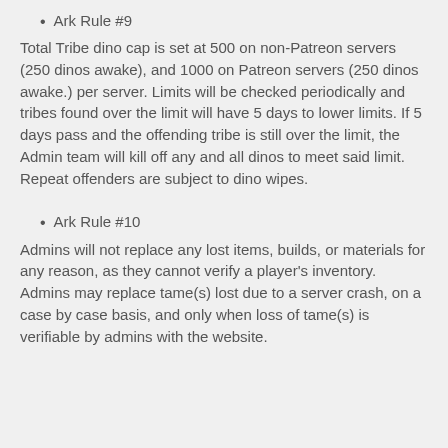Ark Rule #9
Total Tribe dino cap is set at 500 on non-Patreon servers (250 dinos awake), and 1000 on Patreon servers (250 dinos awake.) per server. Limits will be checked periodically and tribes found over the limit will have 5 days to lower limits. If 5 days pass and the offending tribe is still over the limit, the Admin team will kill off any and all dinos to meet said limit. Repeat offenders are subject to dino wipes.
Ark Rule #10
Admins will not replace any lost items, builds, or materials for any reason, as they cannot verify a player's inventory. Admins may replace tame(s) lost due to a server crash, on a case by case basis, and only when loss of tame(s) is verifiable by admins with the website.